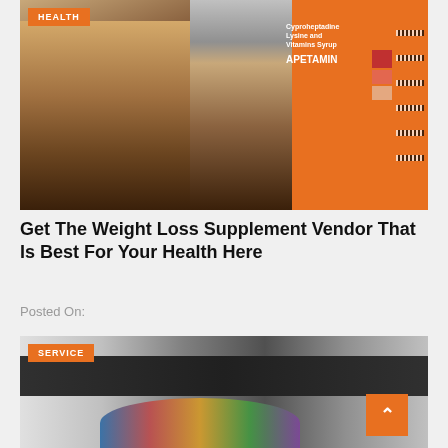[Figure (photo): Collage of three images: left shows a thin woman in shorts, center shows a curvier woman in black outfit, right shows stacked orange Apetamin supplement boxes with barcode labels]
Get The Weight Loss Supplement Vendor That Is Best For Your Health Here
Posted On:
[Figure (photo): A large format printing machine with colorful print output, labeled SERVICE in top-left corner]